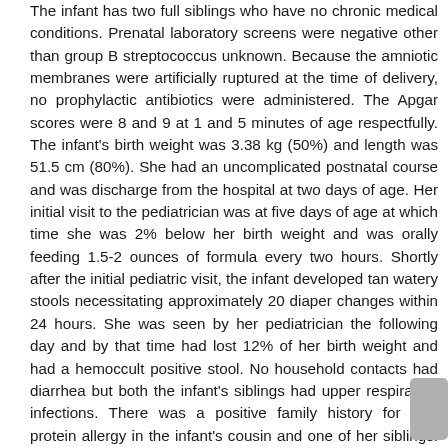The infant has two full siblings who have no chronic medical conditions. Prenatal laboratory screens were negative other than group B streptococcus unknown. Because the amniotic membranes were artificially ruptured at the time of delivery, no prophylactic antibiotics were administered. The Apgar scores were 8 and 9 at 1 and 5 minutes of age respectfully. The infant's birth weight was 3.38 kg (50%) and length was 51.5 cm (80%). She had an uncomplicated postnatal course and was discharge from the hospital at two days of age. Her initial visit to the pediatrician was at five days of age at which time she was 2% below her birth weight and was orally feeding 1.5-2 ounces of formula every two hours. Shortly after the initial pediatric visit, the infant developed tan watery stools necessitating approximately 20 diaper changes within 24 hours. She was seen by her pediatrician the following day and by that time had lost 12% of her birth weight and had a hemoccult positive stool. No household contacts had diarrhea but both the infant's siblings had upper respiratory infections. There was a positive family history for milk protein allergy in the infant's cousin and one of her siblings. The pediatrician instructed the family to bring the infant to the emergency room for rehydration.

In the emergency room the infant appeared jaundice with dry mucus membranes, a sunken anterior fontanelle, and delayed capillary